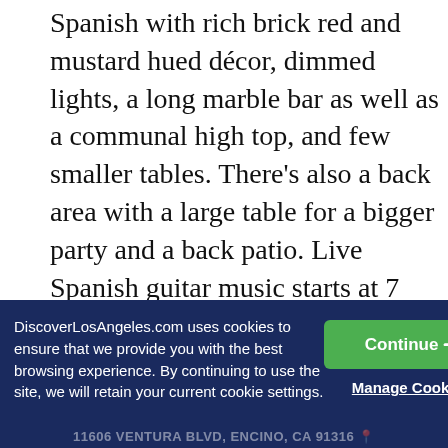Spanish with rich brick red and mustard hued décor, dimmed lights, a long marble bar as well as a communal high top, and few smaller tables. There's also a back area with a large table for a bigger party and a back patio. Live Spanish guitar music starts at 7 p.m. daily. The menu consists of traditional small and large tapas, including montaditos—baguette slices with such toppings as sausage, anchovies, and goat cheese; tortilla Española (omelet), eggplant crujiente (crispy chips with honey), patatas bravas. Seafood choices include ceviche, gambas (shrimp), moules (mussels), delicias (bacon wrapped dates), pollo croquetas (mashed potato balls with chicken). Among the large plates: grilled skirt steak and beef short ribs. There is a well-priced and select red wine list from California, France, Italy, Spain, and Argentina. Whites include Germany, Austria, and Greece. For those seeking finer wines, there is a reserve list.
DiscoverLosAngeles.com uses cookies to ensure that we provide you with the best browsing experience. By continuing to use the site, we will retain your current cookie settings.
Continue →
Manage Cookies
11606 VENTURA BLVD, ENCINO, CA 91316